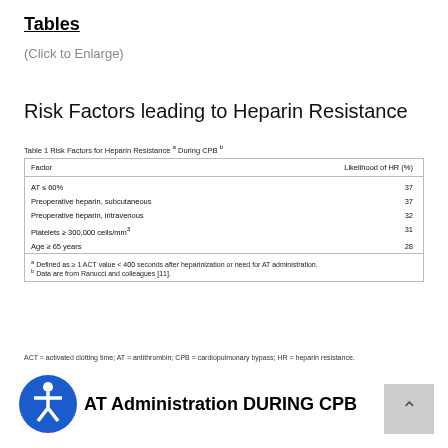Tables
(Click to Enlarge)
Risk Factors leading to Heparin Resistance
Table 1 Risk Factors for Heparin Resistance a During CPB b
| Factor | Likelihood of HR (%) |
| --- | --- |
| AT ≤ 60% | 37 |
| Preoperative heparin, subcutaneous | 37 |
| Preoperative heparin, intravenous | 32 |
| Platelets ≥ 300,000 cells/mm³ | 31 |
| Age ≥ 65 years | 28 |
a Defined as ≥ 1 ACT value < 400 seconds after heparinization or need for AT administration.
b Data are from Ranucci and colleagues [11].
ACT = activated clotting time; AT = antithrombin; CPB = cardiopulmonary bypass; HR = heparin resistance.
AT Administration DURING CPB